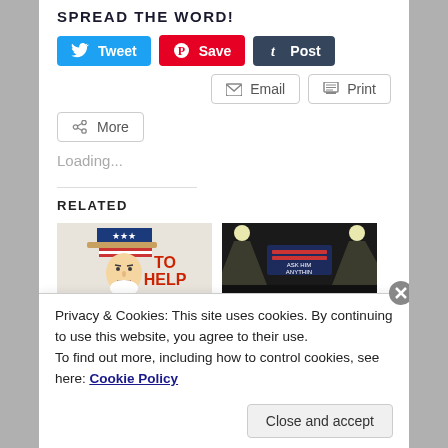SPREAD THE WORD!
[Figure (screenshot): Social sharing buttons: Tweet (Twitter/blue), Save (Pinterest/red), Post (Tumblr/dark navy)]
[Figure (screenshot): Email and Print outline buttons]
[Figure (screenshot): More share button with share icon]
Loading...
RELATED
[Figure (photo): Uncle Sam 'TO HELP' poster thumbnail on left, dark stage/speaker photo on right]
Privacy & Cookies: This site uses cookies. By continuing to use this website, you agree to their use.
To find out more, including how to control cookies, see here: Cookie Policy
Close and accept